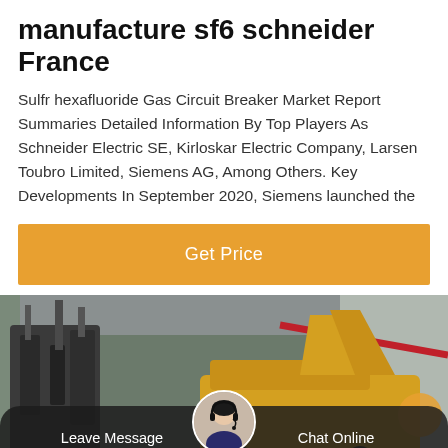manufacture sf6 schneider France
Sulfr hexafluoride Gas Circuit Breaker Market Report Summaries Detailed Information By Top Players As Schneider Electric SE, Kirloskar Electric Company, Larsen Toubro Limited, Siemens AG, Among Others. Key Developments In September 2020, Siemens launched the
[Figure (other): Orange 'Get Price' button]
[Figure (photo): Industrial facility with electrical equipment and a yellow crane/vehicle inside a large building. A customer service chat bar is overlaid at the bottom with 'Leave Message' and 'Chat Online' options and a customer service representative avatar.]